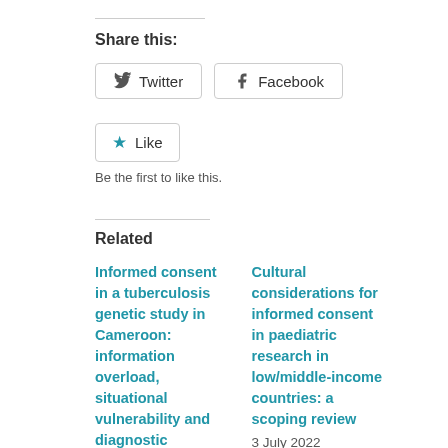Share this:
[Figure (other): Twitter and Facebook share buttons]
[Figure (other): Like button with star icon and text 'Be the first to like this.']
Be the first to like this.
Related
Informed consent in a tuberculosis genetic study in Cameroon: information overload, situational vulnerability and diagnostic misconception
3 July 2022
In "Genomic
Cultural considerations for informed consent in paediatric research in low/middle-income countries: a scoping review
3 July 2022
In "Young Persons"